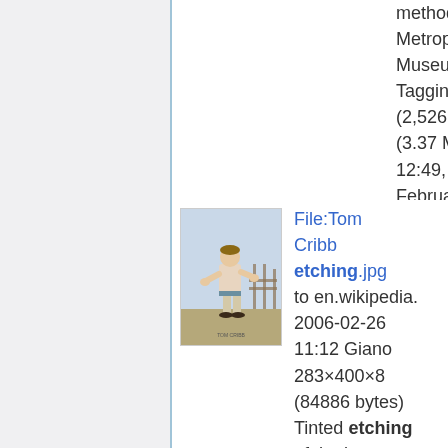method: Metropolitan Museum of Art Tagging (2,526 × 3,933 (3.37 MB)) - 12:49, 1 February 2022
[Figure (illustration): Tinted etching of the boxer Tom Cribb, a man in a fighting stance wearing light-colored pants, outdoors with a fence in the background.]
File:Tom Cribb etching.jpg to en.wikipedia. 2006-02-26 11:12 Giano 283×400×8 (84886 bytes) Tinted etching of the boxer [[Tom Cribb]].